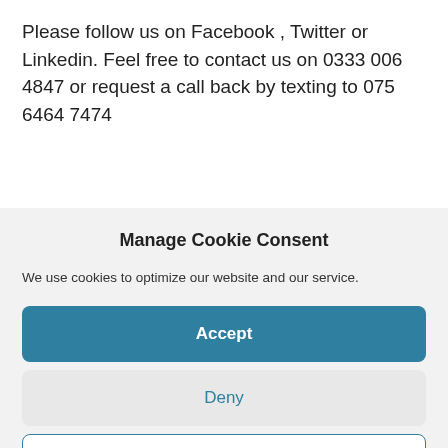Please follow us on Facebook , Twitter or Linkedin. Feel free to contact us on 0333 006 4847 or request a call back by texting to 075 6464 7474
Manage Cookie Consent
We use cookies to optimize our website and our service.
Accept
Deny
Preferences